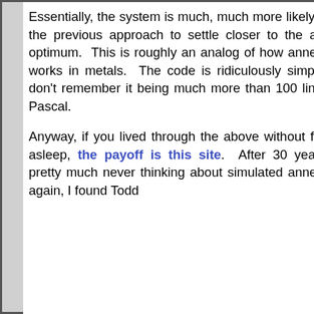Essentially, the system is much, much more likely than the previous approach to settle closer to the actual optimum. This is roughly an analog of how annealing works in metals. The code is ridiculously simple. I don't remember it being much more than 100 lines in Pascal.

Anyway, if you lived through the above without falling asleep, the payoff is this site. After 30 years of pretty much never thinking about simulated annealing again, I found Todd